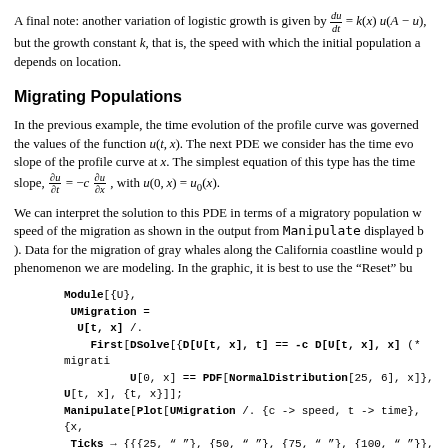A final note: another variation of logistic growth is given by du/dt = k(x) u(A − u), but the growth constant k, that is, the speed with which the initial population a depends on location.
Migrating Populations
In the previous example, the time evolution of the profile curve was governed the values of the function u(t, x). The next PDE we consider has the time evo slope of the profile curve at x. The simplest equation of this type has the time slope, ∂u/∂t = −c ∂u/∂x, with u(0, x) = u₀(x).
We can interpret the solution to this PDE in terms of a migratory population w speed of the migration as shown in the output from Manipulate displayed b ). Data for the migration of gray whales along the California coastline would p phenomenon we are modeling. In the graphic, it is best to use the "Reset" bu
Module[{U},
  UMigration =
    U[t, x] /.
      First[DSolve[{D[U[t, x], t] == -c D[U[t, x], x](* migrati
            U[0, x] == PDF[NormalDistribution[25, 6], x]},
  U[t, x], {t, x}]];
Manipulate[Plot[UMigration /. {c -> speed, t -> time}, {x,
  Ticks -> {{{25, " "}, {50, " "}, {75, " "}, {100, " "}}, {{.0
  PlotLabel -> Row[{"Migrating Population\n", HoldForm[D[u,
  {{speed, 10, "speed c"}, {10, 50}}, {{time, 0, "time t"}, 0